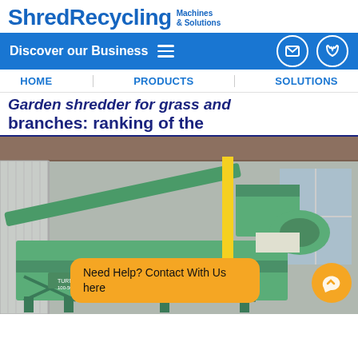ShredRecycling Machines & Solutions
Discover our Business
HOME  PRODUCTS  SOLUTIONS
Garden shredder for grass and branches: ranking of the
[Figure (photo): Industrial green shredding/recycling machine inside a warehouse with metal roof and windows in background. Machine has conveyor belt and motor assembly.]
Need Help? Contact With Us here